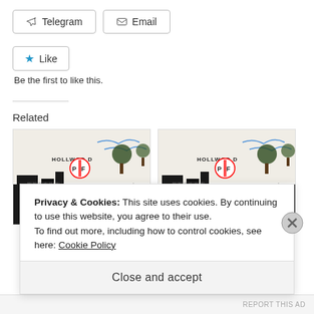Telegram
Email
Like
Be the first to like this.
Related
[Figure (illustration): Artwork with Hollywood text, trees, and abstract city skyline with handwritten annotations]
[Figure (illustration): Artwork with Hollywood text, trees, and abstract city skyline with handwritten annotations (duplicate)]
Privacy & Cookies: This site uses cookies. By continuing to use this website, you agree to their use.
To find out more, including how to control cookies, see here: Cookie Policy
Close and accept